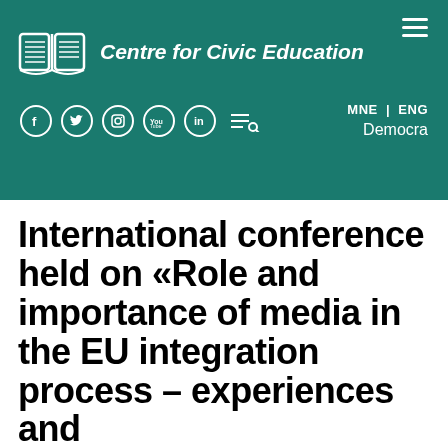[Figure (logo): Centre for Civic Education logo — open book illustration in white on teal background]
Centre for Civic Education
MNE | ENG
Democra
International conference held on «Role and importance of media in the EU integration process – experiences and